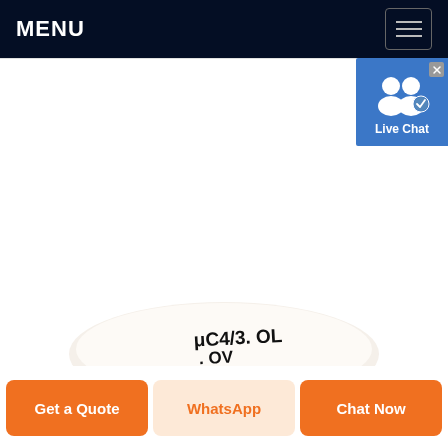MENU
[Figure (screenshot): Live Chat widget button with user icon and blue background, with close X button in top right corner]
[Figure (photo): Partial product image showing label text 'μC4/3. OL' and 'OV' on a white/beige rounded component]
Get a Quote
WhatsApp
Chat Now